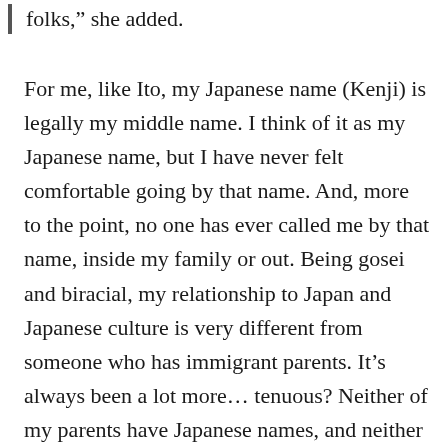folks,” she added.
For me, like Ito, my Japanese name (Kenji) is legally my middle name. I think of it as my Japanese name, but I have never felt comfortable going by that name. And, more to the point, no one has ever called me by that name, inside my family or out. Being gosei and biracial, my relationship to Japan and Japanese culture is very different from someone who has immigrant parents. It’s always been a lot more… tenuous? Neither of my parents have Japanese names, and neither they nor I speak Japanese. Three of my grandparents also didn’t or don’t speak Japanese (though, of those, one was my white grandfather). My Japanese American grandfather also didn’t have a Japanese name, as far as I know,